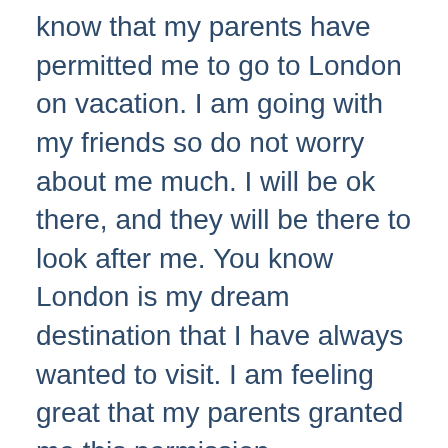know that my parents have permitted me to go to London on vacation. I am going with my friends so do not worry about me much. I will be ok there, and they will be there to look after me. You know London is my dream destination that I have always wanted to visit. I am feeling great that my parents granted me this permission.
-I am going to Kashmir, which is my dream destination. And I cannot express how happy I am. It is like a dream come true for me.